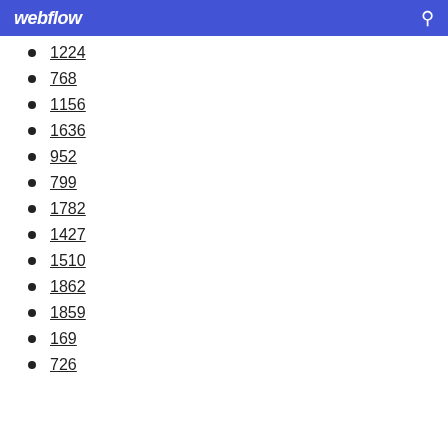webflow
1224
768
1156
1636
952
799
1782
1427
1510
1862
1859
169
726